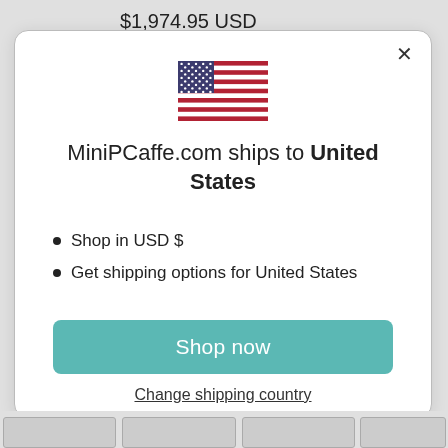$1,974.95 USD
[Figure (illustration): US flag emoji icon showing stars and stripes]
MiniPCaffe.com ships to United States
Shop in USD $
Get shipping options for United States
Shop now
Change shipping country